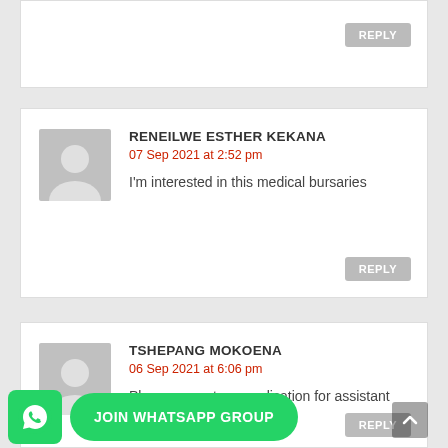REPLY
RENEILWE ESTHER KEKANA
07 Sep 2021 at 2:52 pm
I'm interested in this medical bursaries
REPLY
TSHEPANG MOKOENA
06 Sep 2021 at 6:06 pm
Please accept my application for assistant ...ership.
JOIN WHATSAPP GROUP
REPLY